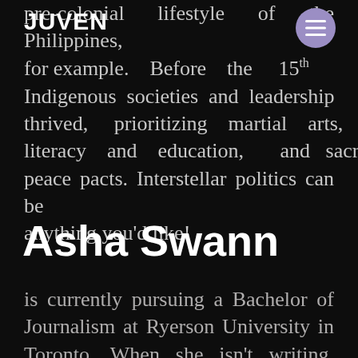JUVEN
pre-colonial lifestyle of the Philippines, for example. Before the 15th century, Indigenous societies and leadership thrived, prioritizing martial arts, literacy and education, and sacred peace pacts. Interstellar politics can be anything you'd like!
Asha Swann
is currently pursuing a Bachelor of Journalism at Ryerson University in Toronto. When she isn't writing, she's reading and working on her bullet journal. You can read more of her work